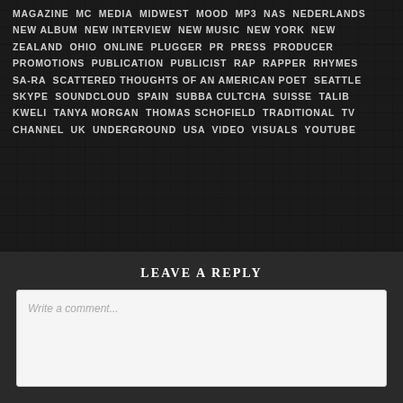MAGAZINE MC MEDIA MIDWEST MOOD MP3 NAS NEDERLANDS NEW ALBUM NEW INTERVIEW NEW MUSIC NEW YORK NEW ZEALAND OHIO ONLINE PLUGGER PR PRESS PRODUCER PROMOTIONS PUBLICATION PUBLICIST RAP RAPPER RHYMES SARA SCATTERED THOUGHTS OF AN AMERICAN POET SEATTLE SKYPE SOUNDCLOUD SPAIN SUBBA CULTCHA SUISSE TALIB KWELI TANYA MORGAN THOMAS SCHOFIELD TRADITIONAL TV CHANNEL UK UNDERGROUND USA VIDEO VISUALS YOUTUBE
LEAVE A REPLY
Write a comment...